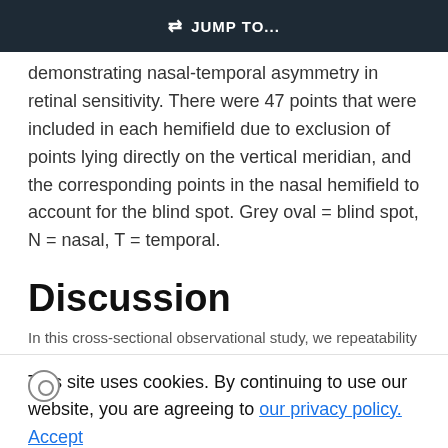JUMP TO...
demonstrating nasal-temporal asymmetry in retinal sensitivity. There were 47 points that were included in each hemifield due to exclusion of points lying directly on the vertical meridian, and the corresponding points in the nasal hemifield to account for the blind spot. Grey oval = blind spot, N = nasal, T = temporal.
Discussion
In this cross-sectional observational study, we repeatability grades for the hand-held static automated perimetry using the Octopus 300 device in a group of patients with RPGR-related RP. As
This site uses cookies. By continuing to use our website, you are agreeing to our privacy policy. Accept